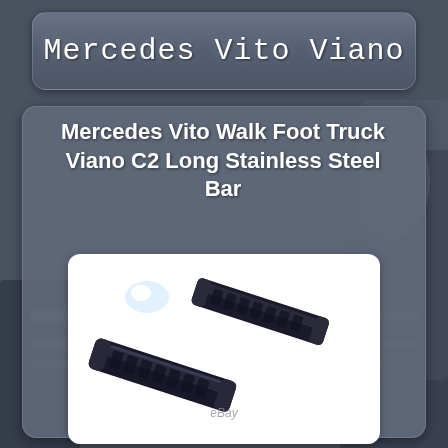Mercedes Vito Viano
Mercedes Vito Walk Foot Truck Viano C2 Long Stainless Steel Bar
[Figure (photo): Two black stainless steel running board bars / side steps for Mercedes Vito Viano, shown on white background with eBay watermark]
[Figure (photo): Partial view of a second product image at the bottom of the card (cropped/cut off)]